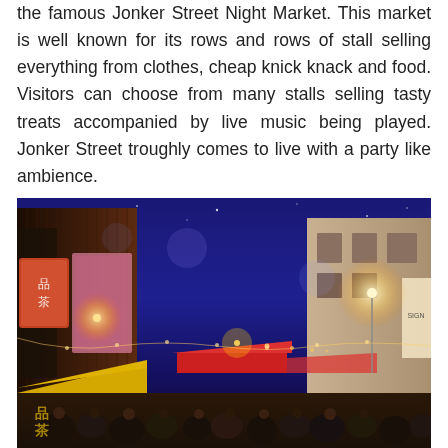the famous Jonker Street Night Market. This market is well known for its rows and rows of stall selling everything from clothes, cheap knick knack and food. Visitors can choose from many stalls selling tasty treats accompanied by live music being played. Jonker Street troughly comes to live with a party like ambience.
[Figure (photo): Night time photograph of Jonker Street Night Market showing a busy street scene with crowds of people, market stalls with yellow and red awnings, shophouse buildings on both sides, string lights and street lamps illuminating the scene against a deep blue night sky.]